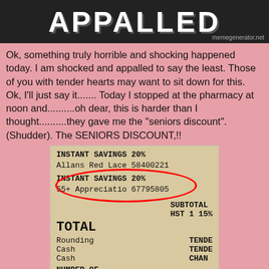[Figure (photo): Meme image top portion showing the word APPALLED in large Impact font on dark background with watermark memegenerator.net]
Ok, something truly horrible and shocking happened today. I am shocked and appalled to say the least.   Those of you with tender hearts may want to sit down for this.  Ok, I'll just say it....... Today I stopped at the pharmacy at noon and..........oh dear, this is harder than I thought..........they gave me the "seniors discount".  (Shudder). The SENIORS DISCOUNT,!!
[Figure (photo): Photo of a pharmacy receipt showing INSTANT SAVINGS 20% for Allans Red Lace 58400221, then a circled section showing INSTANT SAVINGS 20% for 55+ Appreciatio 67795805, then SUBTOTAL, HST 1 15%, TOTAL, Rounding TENDE, Cash TENDE, Cash CHAN, NUMBER OF]